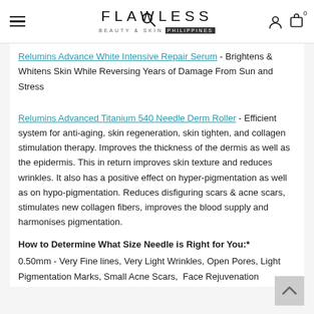FLAWLESS BEAUTY & SKIN PHILIPPINES
Relumins Advance White Intensive Repair Serum - Brightens & Whitens Skin While Reversing Years of Damage From Sun and Stress
Relumins Advanced Titanium 540 Needle Derm Roller - Efficient system for anti-aging, skin regeneration, skin tighten, and collagen stimulation therapy. Improves the thickness of the dermis as well as the epidermis. This in return improves skin texture and reduces wrinkles. It also has a positive effect on hyper-pigmentation as well as on hypo-pigmentation. Reduces disfiguring scars & acne scars, stimulates new collagen fibers, improves the blood supply and harmonises pigmentation.
How to Determine What Size Needle is Right for You:*
0.50mm - Very Fine lines, Very Light Wrinkles, Open Pores, Light Pigmentation Marks, Small Acne Scars,  Face Rejuvenation